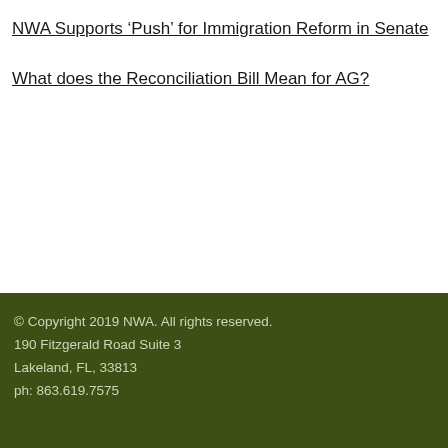NWA Supports ‘Push’ for Immigration Reform in Senate
What does the Reconciliation Bill Mean for AG?
© Copyright 2019 NWA. All rights reserved.
190 Fitzgerald Road Suite 3
Lakeland, FL, 33813
ph: 863.619.7575